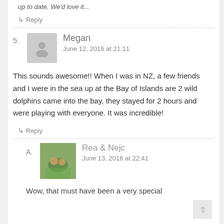up to date. We'd love it...
↳ Reply
5. Megan — June 12, 2016 at 21:11
This sounds awesome!! When I was in NZ, a few friends and I were in the sea up at the Bay of Islands are 2 wild dolphins came into the bay, they stayed for 2 hours and were playing with everyone. It was incredible!
↳ Reply
A. Rea & Nejc — June 13, 2016 at 22:41
Wow, that must have been a very special